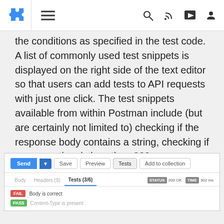navigation bar with puzzle icon, hamburger menu, search, RSS, share, and user icons
the conditions as specified in the test code. A list of commonly used test snippets is displayed on the right side of the text editor so that users can add tests to API requests with just one click. The test snippets available from within Postman include (but are certainly not limited to) checking if the response body contains a string, checking if response time is less than 200 ms, checking if status code is 200 and using Tiny Validator for JSON data.
[Figure (screenshot): Postman UI screenshot showing Send, Save, Preview, Tests, and Add to collection buttons; a tab row with Body, Headers (9), Tests (3/6), STATUS 200 OK, TIME 302 ms; and result rows showing FAIL Body is correct and PASS Content-Type is present]